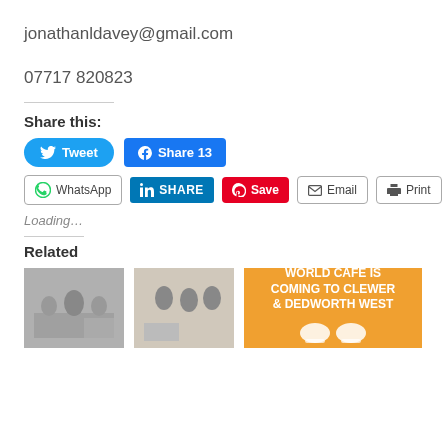jonathanldavey@gmail.com
07717 820823
Share this:
[Figure (screenshot): Social sharing buttons: Tweet (Twitter/blue pill), Share 13 (Facebook/blue), WhatsApp (outlined), SHARE (LinkedIn/blue), Save (Pinterest/red), Email (outlined), Print (outlined)]
Loading…
Related
[Figure (photo): Three thumbnail images: two photos of school children with adults in a hall, one orange promotional image reading WORLD CAFÉ IS COMING TO CLEWER & DEDWORTH WEST]